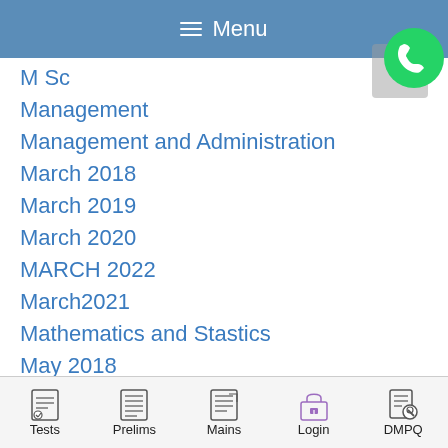Menu
M Sc
Management
Management and Administration
March 2018
March 2019
March 2020
MARCH 2022
March2021
Mathematics and Stastics
May 2018
May 2019
[Figure (logo): YouTube play button icon (red rounded rectangle with white triangle)]
[Figure (logo): Chat/messaging app icon (blue speech bubble with three dots, green bubble behind)]
[Figure (logo): WhatsApp icon (green circle with white phone handset)]
Tests  Prelims  Mains  Login  DMPQ